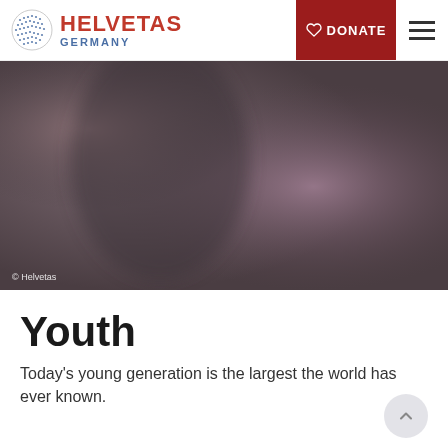HELVETAS GERMANY | DONATE | Menu
[Figure (photo): Blurred abstract photograph with dark muted purple and grey tones, serving as a hero banner image. Copyright: Helvetetas.]
© Helvetas
Youth
Today's young generation is the largest the world has ever known.